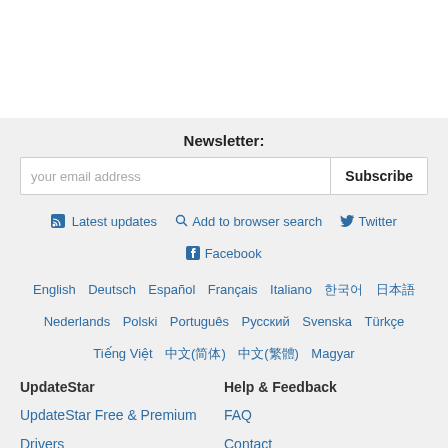Newsletter:
your email address  Subscribe
Latest updates  Add to browser search  Twitter  Facebook
English  Deutsch  Español  Français  Italiano  한국어  日本語  Nederlands  Polski  Português  Русский  Svenska  Türkçe  Tiếng Việt  中文(简体)  中文(繁體)  Magyar
UpdateStar
Help & Feedback
UpdateStar Free & Premium
FAQ
Drivers
Contact
Product Key Finder
Privacy